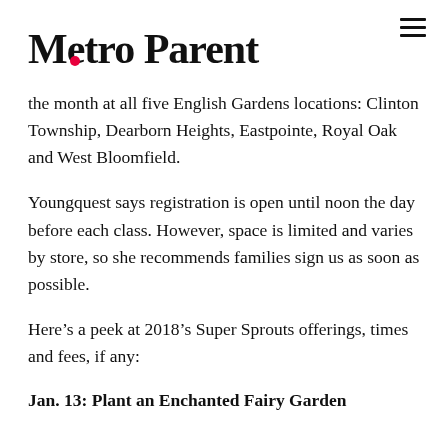Metro Parent
the month at all five English Gardens locations: Clinton Township, Dearborn Heights, Eastpointe, Royal Oak and West Bloomfield.
Youngquest says registration is open until noon the day before each class. However, space is limited and varies by store, so she recommends families sign us as soon as possible.
Here’s a peek at 2018’s Super Sprouts offerings, times and fees, if any:
Jan. 13: Plant an Enchanted Fairy Garden